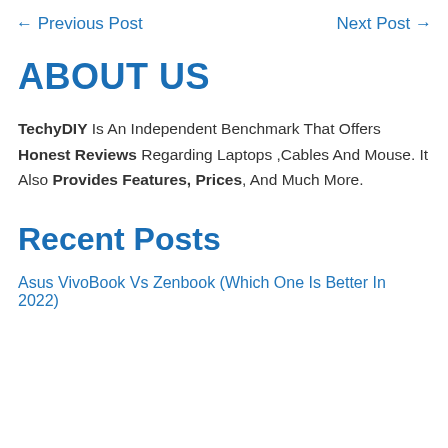← Previous Post    Next Post →
ABOUT US
TechyDIY Is An Independent Benchmark That Offers Honest Reviews Regarding Laptops ,Cables And Mouse. It Also Provides Features, Prices, And Much More.
Recent Posts
Asus VivoBook Vs Zenbook (Which One Is Better In 2022)